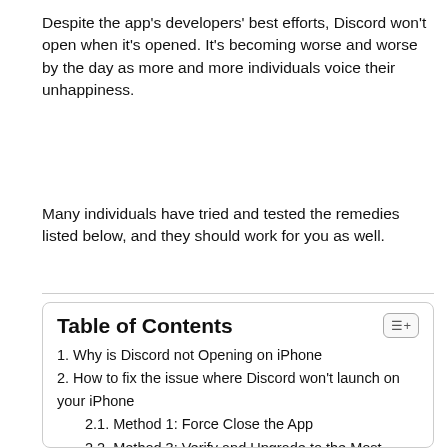Despite the app's developers' best efforts, Discord won't open when it's opened. It's becoming worse and worse by the day as more and more individuals voice their unhappiness.
Many individuals have tried and tested the remedies listed below, and they should work for you as well.
Table of Contents
1. Why is Discord not Opening on iPhone
2. How to fix the issue where Discord won't launch on your iPhone
2.1. Method 1: Force Close the App
2.2. Method 3: Verify and Upgrade to the Most Recent Version of the Application
2.3. Method 4: Try Offloading the App
2.4. Method 5: Restart the Power on Your iPhone
2.5. Method 6: Remove the existing Discord client and then reinstall it.
2.6. Wrapping up